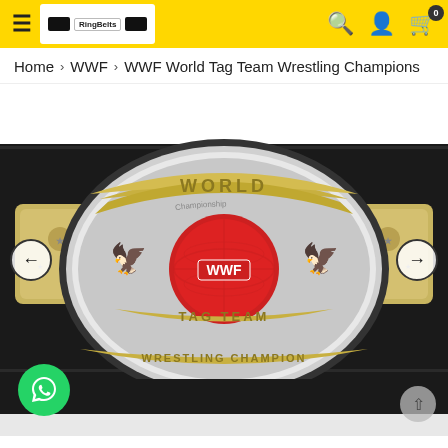RingBelts — navigation header with hamburger menu, logo, search, user, and cart icons
Home > WWF > WWF World Tag Team Wrestling Champions
[Figure (photo): WWF World Tag Team Wrestling Championship replica belt displayed on a black strap background. The silver main plate features a red WWF globe logo in the center, with 'WORLD' across the top banner, 'TAG TEAM' on a lower banner, and 'WRESTLING CHAMPION' at the bottom. Side plates show gold crowns and stars. Left and right navigation arrows are visible.]